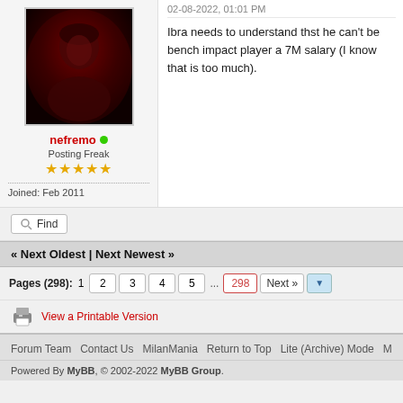[Figure (photo): Avatar photo of user nefremo with red-tinted portrait]
nefremo • (online)
Posting Freak
★★★★★
Joined: Feb 2011
02-08-2022, 01:01 PM
Ibra needs to understand thst he can't be bench impact player a 7M salary (I know that is too much).
Find
« Next Oldest | Next Newest »
Pages (298):  1  2  3  4  5  ...  298  Next »
View a Printable Version
Forum Team   Contact Us   MilanMania   Return to Top   Lite (Archive) Mode   M...
Powered By MyBB, © 2002-2022 MyBB Group.